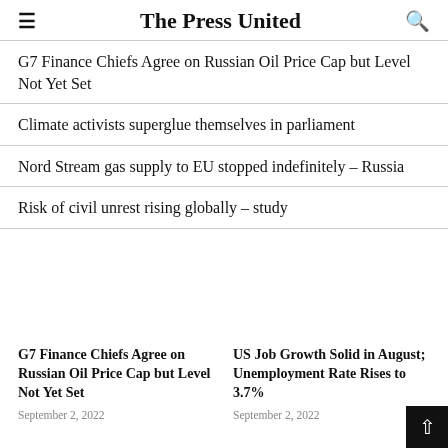The Press United
G7 Finance Chiefs Agree on Russian Oil Price Cap but Level Not Yet Set
Climate activists superglue themselves in parliament
Nord Stream gas supply to EU stopped indefinitely – Russia
Risk of civil unrest rising globally – study
[Figure (photo): Placeholder image for G7 Finance Chiefs article]
G7 Finance Chiefs Agree on Russian Oil Price Cap but Level Not Yet Set
September 2, 2022
[Figure (photo): Placeholder image for US Job Growth article]
US Job Growth Solid in August; Unemployment Rate Rises to 3.7%
September 2, 2022